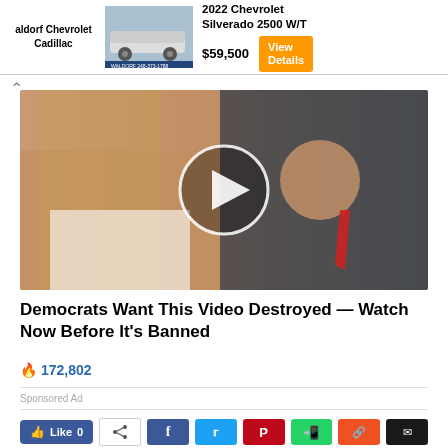[Figure (screenshot): Advertisement banner for Waldorf Chevrolet Cadillac showing a 2022 Chevrolet Silverado 2500 W/T truck at $59,500 with an orange 'View Details' button]
[Figure (photo): Video thumbnail showing two people (woman with long blonde hair in white outfit, man in dark suit with red tie) with a circular play button overlay in the center]
Democrats Want This Video Destroyed — Watch Now Before It's Banned
🔥 172,802
Sponsored Ad
[Figure (screenshot): Social sharing interface with a blue 'Like 0' button and a row of social media share buttons (share, Facebook, Twitter, Pinterest, WhatsApp, social sharing, email)]